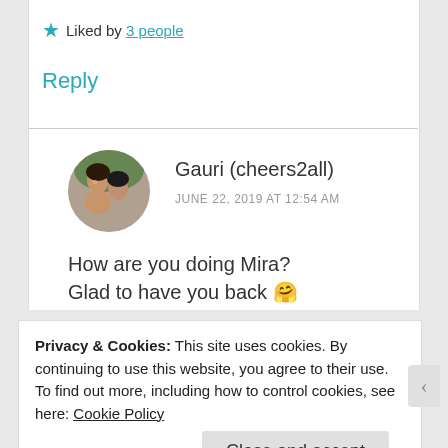★ Liked by 3 people
Reply
Gauri (cheers2all)
JUNE 22, 2019 AT 12:54 AM
[Figure (photo): Profile photo of Gauri (cheers2all), showing a couple smiling]
How are you doing Mira?
Glad to have you back 🤗
Privacy & Cookies: This site uses cookies. By continuing to use this website, you agree to their use.
To find out more, including how to control cookies, see here: Cookie Policy
Close and accept